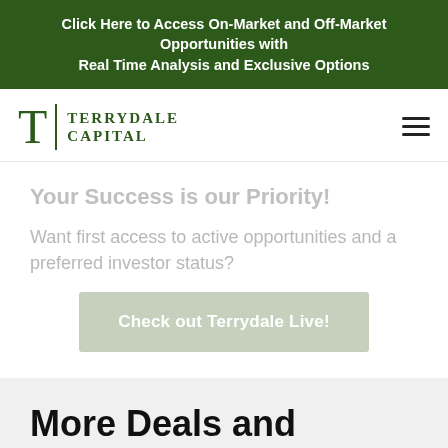Click Here to Access On-Market and Off-Market Opportunities with Real Time Analysis and Exclusive Options
[Figure (logo): Terrydale Capital logo with stylized T and vertical divider bar next to the text TERRYDALE CAPITAL]
Your Success is our Priority!
Want first access to active opportunities and a preferred investor status?
Check out Terrydale Live!
More Deals and Updates